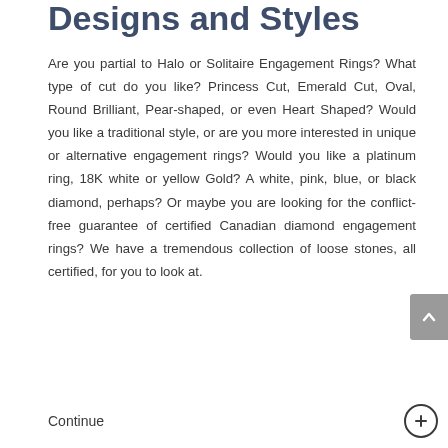Designs and Styles
Are you partial to Halo or Solitaire Engagement Rings? What type of cut do you like? Princess Cut, Emerald Cut, Oval, Round Brilliant, Pear-shaped, or even Heart Shaped? Would you like a traditional style, or are you more interested in unique or alternative engagement rings? Would you like a platinum ring, 18K white or yellow Gold? A white, pink, blue, or black diamond, perhaps? Or maybe you are looking for the conflict-free guarantee of certified Canadian diamond engagement rings? We have a tremendous collection of loose stones, all certified, for you to look at.
Continue